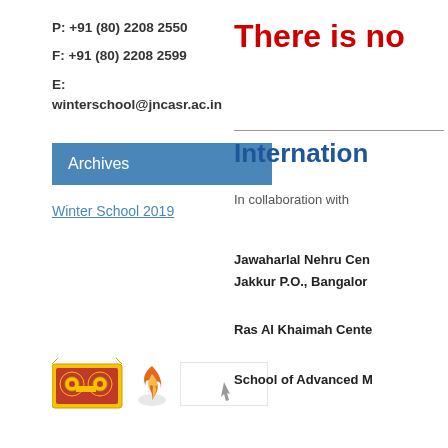P: +91 (80) 2208 2550
F: +91 (80) 2208 2599
E: winterschool@jncasr.ac.in
Archives
Winter School 2019
There is no
Internation
In collaboration with
Jawaharlal Nehru Cen
Jakkur P.O., Bangalor
Ras Al Khaimah Cente
School of Advanced M